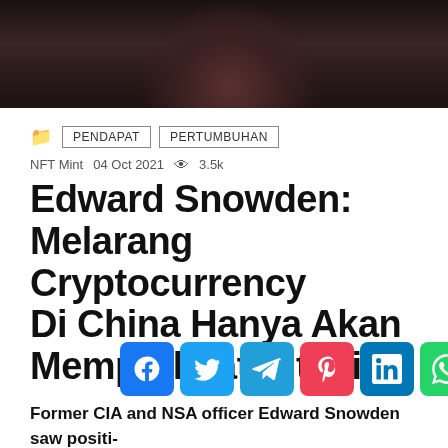[Figure (photo): Dark photo of a person in a suit, cropped to show upper body, dark background]
PENDAPAT   PERTUMBUHAN
NFT Mint   04 Oct 2021   3.5k views
Edward Snowden: Melarang Cryptocurrency Di China Hanya Akan Memperkuat Bitcoin
Former CIA and NSA officer Edward Snowden saw positives for Bitcoin and the entire cryptocurrency industry in the total Ch...